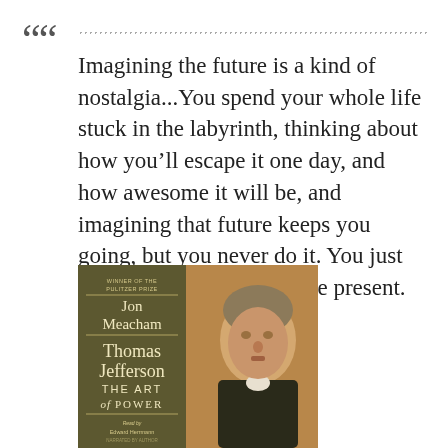Imagining the future is a kind of nostalgia...You spend your whole life stuck in the labyrinth, thinking about how you'll escape it one day, and how awesome it will be, and imagining that future keeps you going, but you never do it. You just use the future to escape the present.
[Figure (illustration): Book cover of 'Thomas Jefferson: The Art of Power' by Jon Meacham, winner of the Pulitzer Prize, read by Edward Herrmann. The cover shows a portrait of Thomas Jefferson on the right side, with the book title and author info on a dark olive/green left panel.]